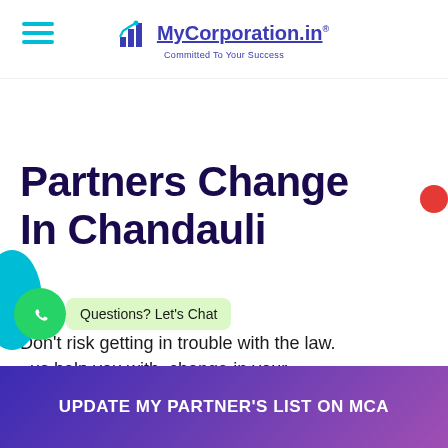MyCorporation.in — Committed To Your Success
Partners Change In Chandauli
Don't risk getting in trouble with the law. Let us help you with change in your partners.
Questions? Let's Chat
UPDATE MY PARTNER'S LIST ON MCA